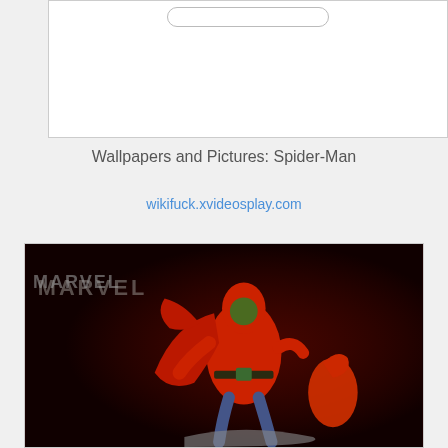[Figure (screenshot): White box with a search bar at the top, representing a browser or app UI element]
Wallpapers and Pictures: Spider-Man
wikifuck.xvideosplay.com
[Figure (photo): Marvel figurine photo showing a red-costumed character (Hobgoblin or similar Spider-Man villain) against a dark background with MARVEL text watermark]